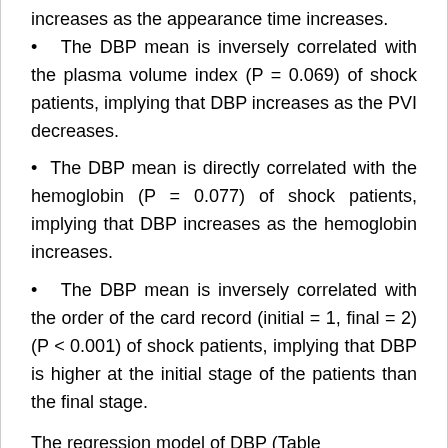increases as the appearance time increases.
The DBP mean is inversely correlated with the plasma volume index (P = 0.069) of shock patients, implying that DBP increases as the PVI decreases.
The DBP mean is directly correlated with the hemoglobin (P = 0.077) of shock patients, implying that DBP increases as the hemoglobin increases.
The DBP mean is inversely correlated with the order of the card record (initial = 1, final = 2) (P < 0.001) of shock patients, implying that DBP is higher at the initial stage of the patients than the final stage.
The regression model of DBP (Table...